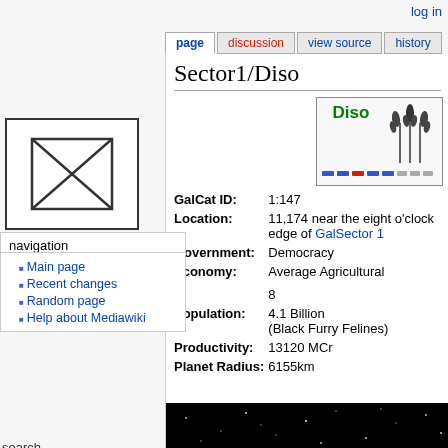log in
page | discussion | view source | history
Sector1/Diso
[Figure (illustration): Broken image placeholder with X in a box]
Diso
[Figure (illustration): Wheat/grain icon representing agricultural economy]
| Field | Value |
| --- | --- |
| GalCat ID: | 1:147 |
| Location: | 11,174 near the eight o'clock edge of GalSector 1 |
| Government: | Democracy |
| Economy: | Average Agricultural |
| Population: | 4.1 Billion (Black Furry Felines) |
| Productivity: | 13120 MCr |
| Planet Radius: | 6155km |
navigation
Main page
Recent changes
Random page
Help about Mediawiki
search
tools
What links here
Related changes
Special pages
Printable version
[Figure (photo): Black starfield image strip at bottom of page]